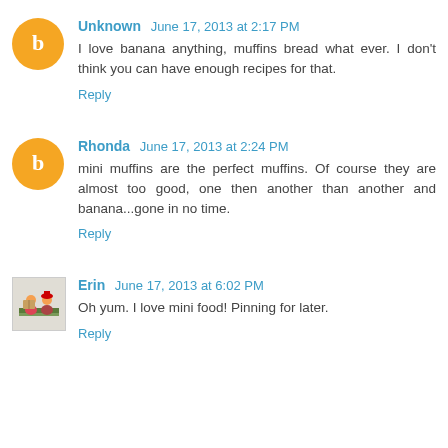Unknown June 17, 2013 at 2:17 PM — I love banana anything, muffins bread what ever. I don't think you can have enough recipes for that. Reply
Rhonda June 17, 2013 at 2:24 PM — mini muffins are the perfect muffins. Of course they are almost too good, one then another than another and banana...gone in no time. Reply
Erin June 17, 2013 at 6:02 PM — Oh yum. I love mini food! Pinning for later. Reply